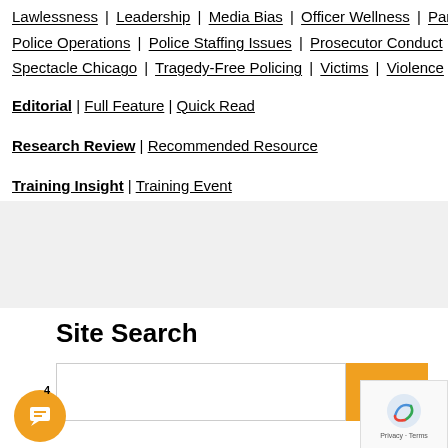Lawlessness | Leadership | Media Bias | Officer Wellness | Pandemic Mandates | Pandemic Restrictions Enforcement | Police Operations | Police Staffing Issues | Prosecutor Conduct | Public Opinion | Public Safety | Research Analysis | Spectacle Chicago | Tragedy-Free Policing | Victims | Violence |
Editorial | Full Feature | Quick Read
Research Review | Recommended Resource
Training Insight | Training Event
Site Search